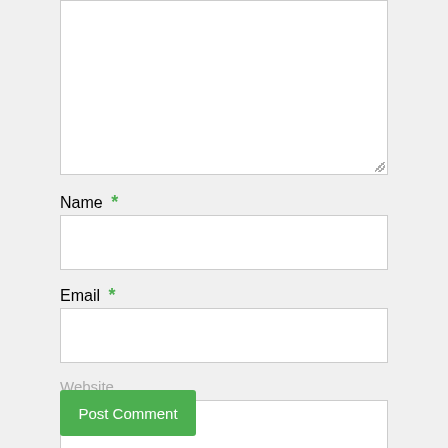[Figure (screenshot): Comment form textarea (large empty white text input box with resize handle)]
Name *
[Figure (screenshot): Name input field (empty white single-line text box)]
Email *
[Figure (screenshot): Email input field (empty white single-line text box)]
Website
[Figure (screenshot): Website input field (empty white single-line text box)]
Post Comment